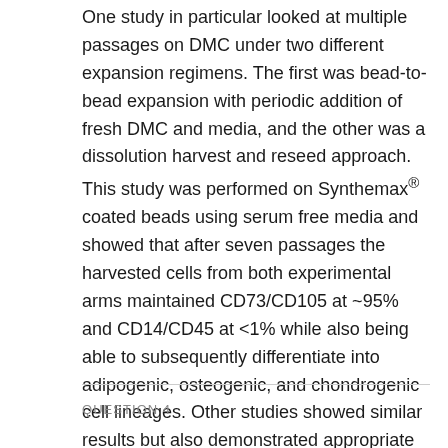One study in particular looked at multiple passages on DMC under two different expansion regimens. The first was bead-to-bead expansion with periodic addition of fresh DMC and media, and the other was a dissolution harvest and reseed approach. This study was performed on Synthemax® coated beads using serum free media and showed that after seven passages the harvested cells from both experimental arms maintained CD73/CD105 at ~95% and CD14/CD45 at <1% while also being able to subsequently differentiate into adipogenic, osteogenic, and chondrogenic cell lineages. Other studies showed similar results but also demonstrated appropriate CD90 and CD34 markers as well as assessment of appropriate karyotype.
QUESTION 4